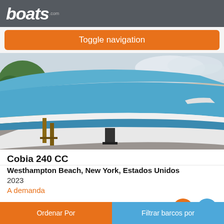boats.com
Toggle navigation
[Figure (photo): Blue and white Cobia 240 CC boat hull photographed outdoors on gravel, showing the bow of a blue and white boat, with trees and a building visible in the background]
Cobia 240 CC
Westhampton Beach, New York, Estados Unidos
2023
A demanda
Vendedor Modern Yachts
Ordenar Por
Filtrar barcos por